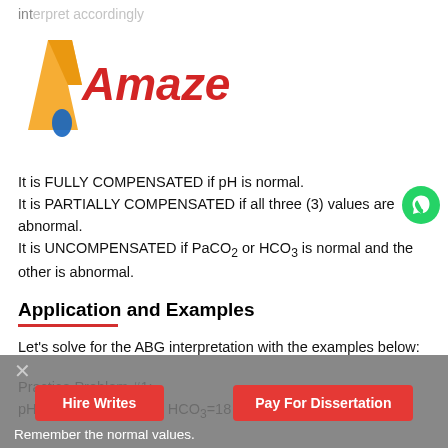[Figure (logo): Amazel990 watermark logo with orange/yellow arrow shape and red italic text 'Amazel990']
interpret accordingly
8. We have goal #_COMPENSATION.
Lastly, we need to determine the compensation to achieve our goal. Interpret the results as follows:
It is FULLY COMPENSATED if pH is normal.
It is PARTIALLY COMPENSATED if all three (3) values are abnormal.
It is UNCOMPENSATED if PaCO2 or HCO3 is normal and the other is abnormal.
Application and Examples
Let's solve for the ABG interpretation with the examples below:
Practice Problem #1:
pH=7.26 | PaCO2=32 | HCO3=18
Remember the normal values.